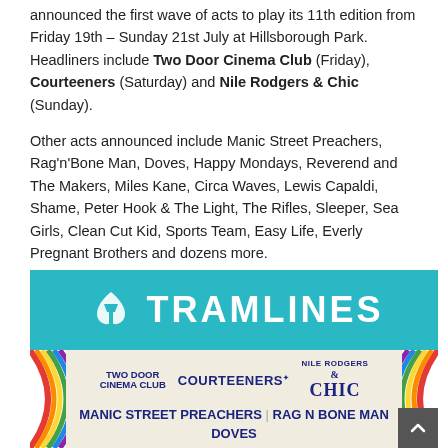announced the first wave of acts to play its 11th edition from Friday 19th – Sunday 21st July at Hillsborough Park. Headliners include Two Door Cinema Club (Friday), Courteeners (Saturday) and Nile Rodgers & Chic (Sunday).
Other acts announced include Manic Street Preachers, Rag'n'Bone Man, Doves, Happy Mondays, Reverend and The Makers, Miles Kane, Circa Waves, Lewis Capaldi, Shame, Peter Hook & The Light, The Rifles, Sleeper, Sea Girls, Clean Cut Kid, Sports Team, Easy Life, Everly Pregnant Brothers and dozens more.
[Figure (other): Tramlines Festival promotional banner with logo (tram icon + TRAMLINES text in white on teal background) and lineup poster below showing headliners Two Door Cinema Club, Courteeners, Nile Rodgers & Chic, and second-tier acts Manic Street Preachers, Rag N Bone Man, Doves on a cream background with rainbow arch decorations.]